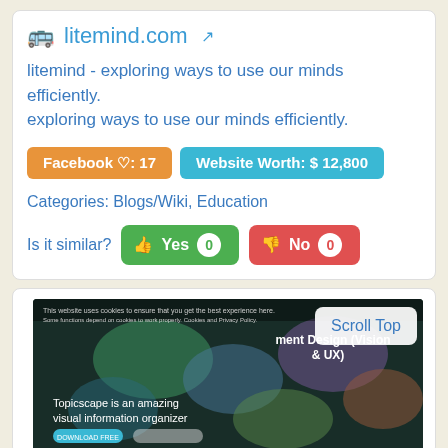litemind.com
litemind - exploring ways to use our minds efficiently. exploring ways to use our minds efficiently.
Facebook ♡: 17
Website Worth: $ 12,800
Categories: Blogs/Wiki, Education
Is it similar?  Yes 0  No 0
[Figure (screenshot): Screenshot of a website showing a dark background with colorful topic map visualization and text 'Topicscape is an amazing visual information organizer']
Scroll Top